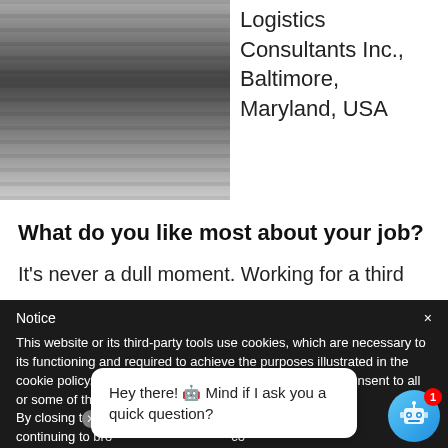[Figure (photo): Black and white photo of a person wearing a striped shirt, cropped showing neck and lower face area]
Logistics Consultants Inc., Baltimore, Maryland, USA
What do you like most about your job?
It's never a dull moment. Working for a third
Notice
This website or its third-party tools use cookies, which are necessary to its functioning and required to achieve the purposes illustrated in the cookie policy. If you want to know more or withdraw your consent to all or some of the cookies, please refer to the cookie policy.
By closing t b or continuing to bro co
Hey there! 🤖 Mind if I ask you a quick question?